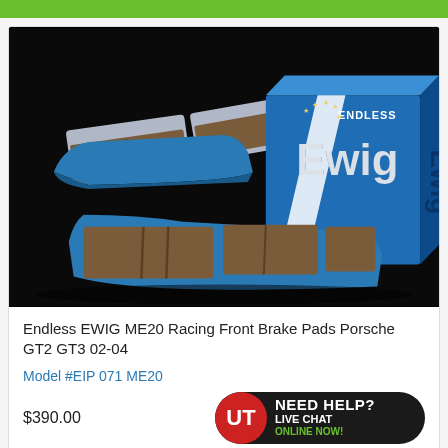[Figure (photo): Endless EWIG ME20 Racing brake pads displayed next to blue branded product box on black background]
Endless EWIG ME20 Racing Front Brake Pads Porsche GT2 GT3 02-04
Model #EIP 071 ME20
$390.00
[Figure (logo): Need Help? Live Chat Online Now! badge with UT logo]